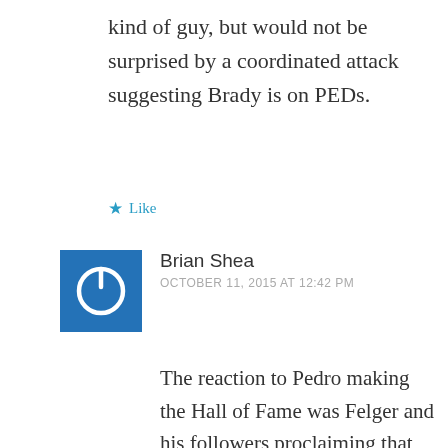kind of guy, but would not be surprised by a coordinated attack suggesting Brady is on PEDs.
★ Like
[Figure (other): Blue square avatar with white power button icon]
Brian Shea
OCTOBER 11, 2015 AT 12:42 PM
The reaction to Pedro making the Hall of Fame was Felger and his followers proclaiming that he took steroids. Don't expect it to be any different for Brady.